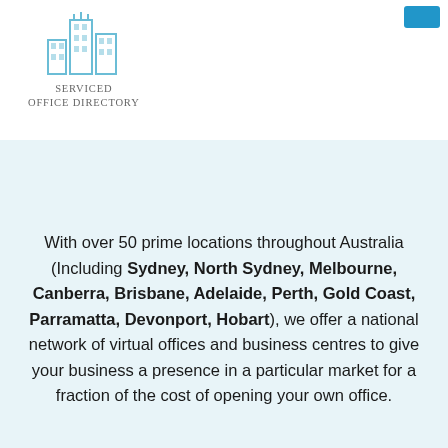[Figure (logo): Serviced Office Directory logo — stylized building icon in light blue above text 'SERVICED OFFICE DIRECTORY' in grey serif capitals]
With over 50 prime locations throughout Australia (Including Sydney, North Sydney, Melbourne, Canberra, Brisbane, Adelaide, Perth, Gold Coast, Parramatta, Devonport, Hobart), we offer a national network of virtual offices and business centres to give your business a presence in a particular market for a fraction of the cost of opening your own office.